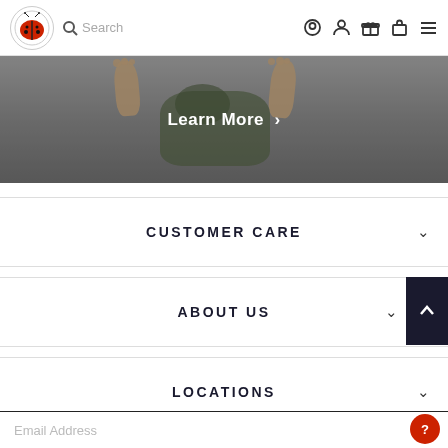Search | Location | Account | Gift | Bag | Menu
[Figure (photo): Hero image of baby feet and a small dog on a light grey background, with a 'Learn More >' button overlay]
CUSTOMER CARE
ABOUT US
LOCATIONS
SIGN UP FOR THE LATEST NEWS & PROMOTIONS
[Figure (illustration): Canadian flag icon with expand/collapse arrows]
Email Address